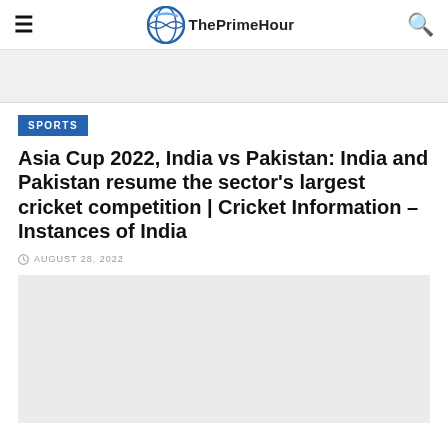ThePrimeHour
[Figure (other): Light gray hero image placeholder area below navigation bar]
SPORTS
Asia Cup 2022, India vs Pakistan: India and Pakistan resume the sector's largest cricket competition | Cricket Information – Instances of India
AUGUST 28, 2022
[Figure (photo): Large article image placeholder, light gray background]